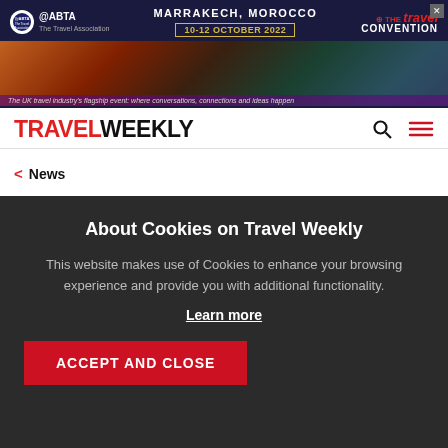[Figure (photo): ABTA Travel Convention advertisement banner for Marrakech, Morocco, 10-12 October 2022, with The Travel Convention logo and desert/palm tree background image]
TRAVEL WEEKLY
< News
All Nippon Airways to resume
About Cookies on Travel Weekly
This website makes use of Cookies to enhance your browsing experience and provide you with additional functionality.
Learn more
ACCEPT AND CLOSE